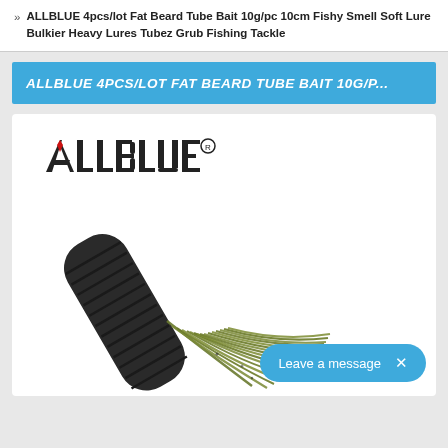» ALLBLUE 4pcs/lot Fat Beard Tube Bait 10g/pc 10cm Fishy Smell Soft Lure Bulkier Heavy Lures Tubez Grub Fishing Tackle
ALLBLUE 4PCS/LOT FAT BEARD TUBE BAIT 10G/P...
[Figure (photo): Product photo of ALLBLUE fishing lure - a tube bait with dark ribbed cylindrical body and green/olive colored tentacle-style skirt fronds spreading at the bottom. ALLBLUE logo with registered trademark symbol appears in the upper left.]
Leave a message ×